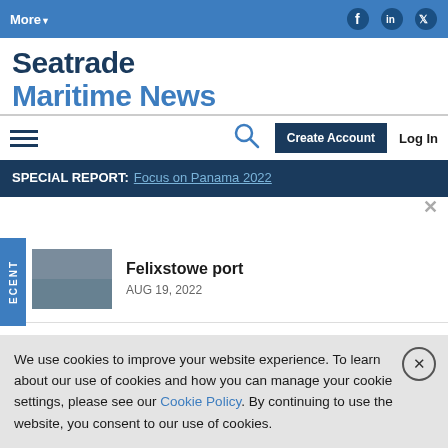More▼
Seatrade Maritime News
Create Account  Log In
SPECIAL REPORT: Focus on Panama 2022
Felixstowe port  AUG 19, 2022
We use cookies to improve your website experience. To learn about our use of cookies and how you can manage your cookie settings, please see our Cookie Policy. By continuing to use the website, you consent to our use of cookies.